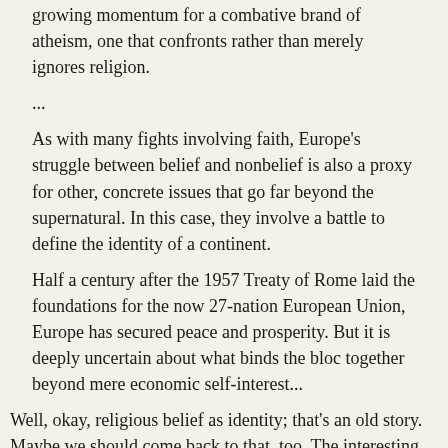growing momentum for a combative brand of atheism, one that confronts rather than merely ignores religion.
...
As with many fights involving faith, Europe’s struggle between belief and nonbelief is also a proxy for other, concrete issues that go far beyond the supernatural. In this case, they involve a battle to define the identity of a continent.
Half a century after the 1957 Treaty of Rome laid the foundations for the now 27-nation European Union, Europe has secured peace and prosperity. But it is deeply uncertain about what binds the bloc together beyond mere economic self-interest...
Well, okay, religious belief as identity; that's an old story. Maybe we should come back to that, too. The interesting bit here is the question: if materialism drives out piety, why is America still so pious, while Europe is almost as materialistic, and clearly so non-religious?